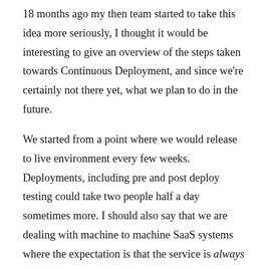18 months ago my then team started to take this idea more seriously, I thought it would be interesting to give an overview of the steps taken towards Continuous Deployment, and since we're certainly not there yet, what we plan to do in the future.
We started from a point where we would release to live environment every few weeks. Deployments, including pre and post deploy testing could take two people half a day sometimes more. I should also say that we are dealing with machine to machine SaaS systems where the expectation is that the service is always available.
Reduce manual deployment load
Our first effort aimed to...